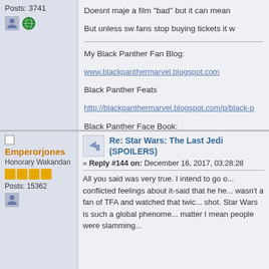Posts: 3741
Doesnt maje a film "bad" but it can mean...
But unless sw fans stop buying tickets it w...
My Black Panther Fan Blog:
www.blackpanthermarvel.blogspot.com
Black Panther Feats
http://blackpanthermarvel.blogspot.com/p/black-p...
Black Panther Face Book:
https://www.facebook.com/blackpantherblog/
Emperorjones
Honorary Wakandan
Posts: 15362
Re: Star Wars: The Last Jedi (SPOILERS)
« Reply #144 on: December 16, 2017, 03:28:28
All you said was very true. I intend to go o... conflicted feelings about it-said that he he... wasn't a fan of TFA and watched that twic... shot. Star Wars is such a global phenome... matter I mean people were slamming...